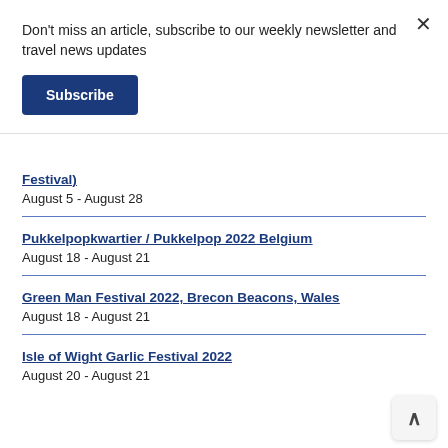Don't miss an article, subscribe to our weekly newsletter and travel news updates
Subscribe
Festival)
August 5 - August 28
Pukkelpopkwartier / Pukkelpop 2022 Belgium
August 18 - August 21
Green Man Festival 2022, Brecon Beacons, Wales
August 18 - August 21
Isle of Wight Garlic Festival 2022
August 20 - August 21